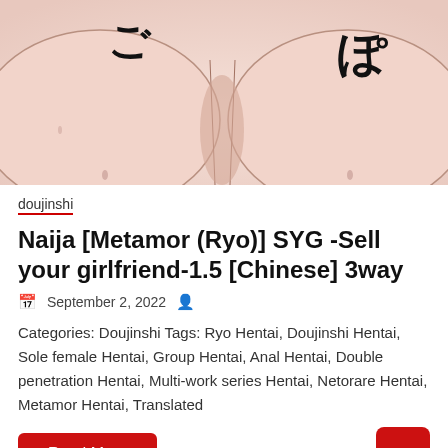[Figure (illustration): Manga/doujinshi cover illustration with peach skin tones and Japanese text characters ご and ぽ]
doujinshi
Naija [Metamor (Ryo)] SYG -Sell your girlfriend-1.5 [Chinese] 3way
September 2, 2022
Categories: Doujinshi Tags: Ryo Hentai, Doujinshi Hentai, Sole female Hentai, Group Hentai, Anal Hentai, Double penetration Hentai, Multi-work series Hentai, Netorare Hentai, Metamor Hentai, Translated
Read More